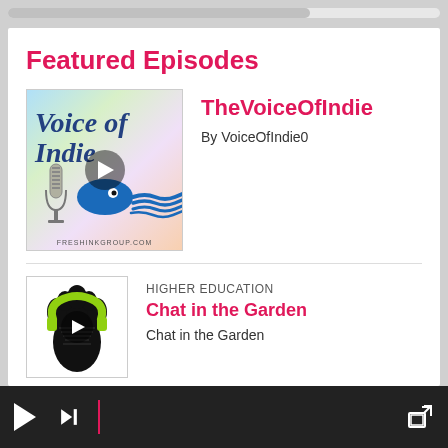Featured Episodes
[Figure (illustration): Voice of Indie podcast thumbnail: colorful background with cursive 'Voice of Indie' text, a blue squid, a vintage microphone, and a play button overlay. Bottom text: FRESHINKGROUP.COM]
TheVoiceOfIndie
By VoiceOfIndie0
HIGHER EDUCATION
[Figure (illustration): Chat in the Garden podcast thumbnail: silhouette of a woman's head with green headphones, play button overlay, black and white style]
Chat in the Garden
Chat in the Garden